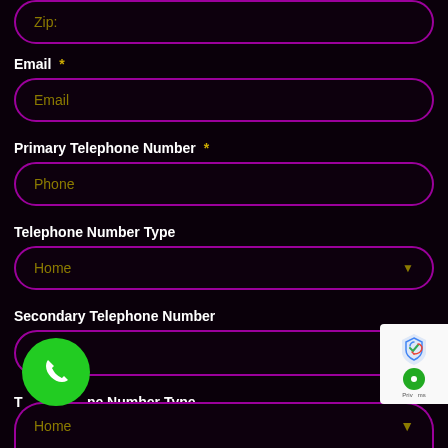Zip:
Email *
Email
Primary Telephone Number *
Phone
Telephone Number Type
Home
Secondary Telephone Number
Telephone Number Type
Home